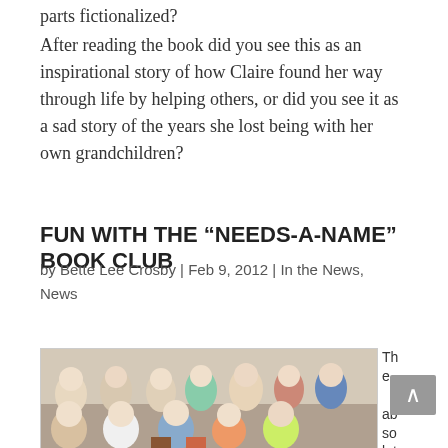parts fictionalized?
After reading the book did you see this as an inspirational story of how Claire found her way through life by helping others, or did you see it as a sad story of the years she lost being with her own grandchildren?
FUN WITH THE “NEEDS-A-NAME” BOOK CLUB
by Bette Lee Crosby | Feb 9, 2012 | In the News, News
[Figure (photo): Group photo of women from the Needs-A-Name book club, seated and standing, indoors]
The absolute m